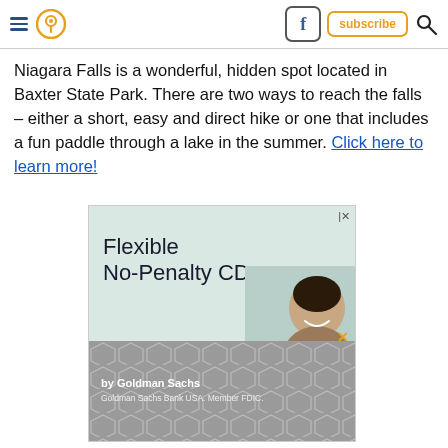Navigation header with hamburger menu, location pin icon, Facebook button, subscribe button, and search icon
Niagara Falls is a wonderful, hidden spot located in Baxter State Park. There are two ways to reach the falls – either a short, easy and direct hike or one that includes a fun paddle through a lake in the summer. Click here to learn more!
[Figure (advertisement): Advertisement for Flexible No-Penalty CD by Goldman Sachs. Shows text 'Flexible No-Penalty CD' with a photo of a smiling woman and geometric gray pattern background. Goldman Sachs Bank USA Member FDIC.]